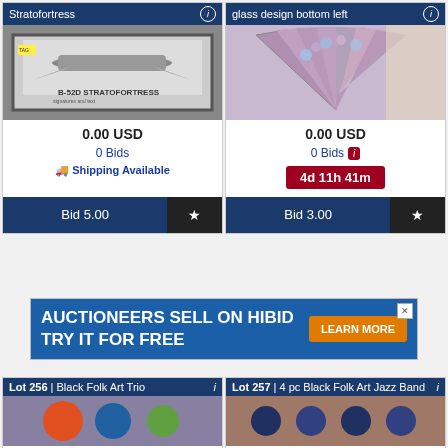Stratofortress
[Figure (photo): Framed B-52D Stratofortress black and white photo print]
0.00 USD
0 Bids
Shipping Available
Bid 5.00
glass design bottom left
[Figure (photo): Decorative fan-shaped piece with floral design]
0.00 USD
0 Bids
4d 11h 41m
Bid 3.00
[Figure (infographic): Advertisement banner: AUCTIONEERS SELL ON HIBID TRY IT FOR FREE — LEARN MORE]
Lot 256 | Black Folk Art Trio
Lot 257 | 4 pc Black Folk Art Jazz Band